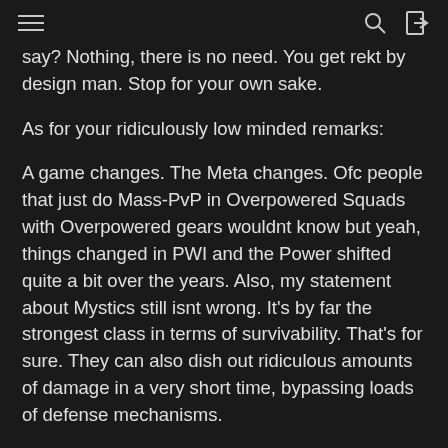[hamburger menu] [search icon] [login icon]
say? Nothing, there is no need. You get rekt by design man. Stop for your own sake.
As for your ridiculously low minded remarks:
A game changes. The Meta changes. Ofc people that just do Mass-PvP in Overpowered Squads with Overpowered gears wouldnt know but yeah, things changed in PWI and the Power shifted quite a bit over the years. Also, my statement about Mystics still isnt wrong. It's by far the strongest class in terms of survivability. That's for sure. They can also dish out ridiculous amounts of damage in a very short time, bypassing loads of defense mechanisms.
However, it is very easy to counter that OP stuff and a mystic has to work alot to get certain classes to a point in which they can perform a kill. The recent updates also